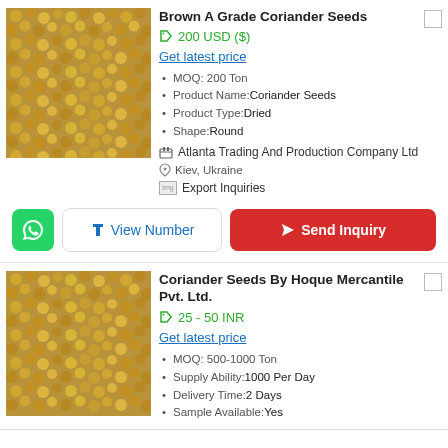Brown A Grade Coriander Seeds
200 USD ($)
Get latest price
MOQ: 200 Ton
Product Name:Coriander Seeds
Product Type:Dried
Shape:Round
Atlanta Trading And Production Company Ltd
Kiev, Ukraine
Export Inquiries
[Figure (screenshot): WhatsApp button, View Number button, Send Inquiry button]
Coriander Seeds By Hoque Mercantile Pvt. Ltd.
25 - 50 INR
Get latest price
MOQ: 500-1000 Ton
Supply Ability:1000 Per Day
Delivery Time:2 Days
Sample Available:Yes